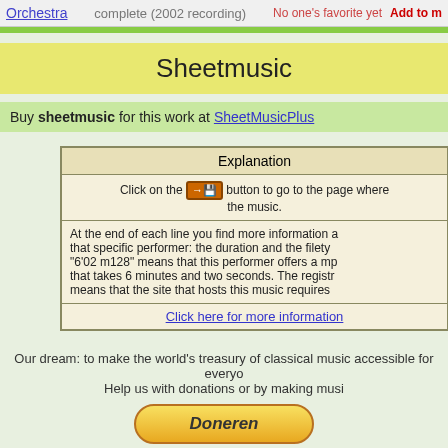Orchestra | (2002 recording) | No one's favorite yet | Add to m
Sheetmusic
Buy sheetmusic for this work at SheetMusicPlus
| Explanation |
| --- |
| Click on the [save icon] button to go to the page where the music. |
| At the end of each line you find more information a that specific performer: the duration and the filety "6'02 m128" means that this performer offers a mp that takes 6 minutes and two seconds. The regist means that the site that hosts this music requires |
| Click here for more information |
Our dream: to make the world's treasury of classical music accessible for everyone. Help us with donations or by making musi
[Figure (other): Donate button (Doneren) with PayPal-style styling and payment icons: Mastercard, VISA, Amex]